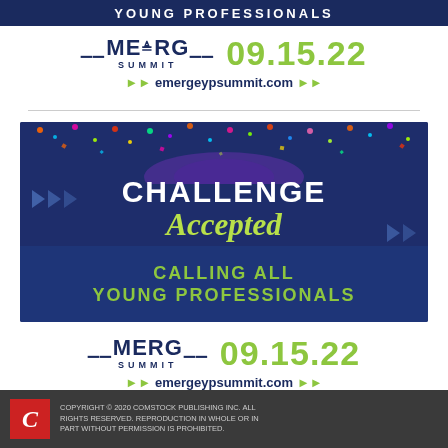[Figure (infographic): Top navy blue banner with white text 'YOUNG PROFESSIONALS' (partially cropped at top)]
[Figure (logo): EMERGE SUMMIT logo with date 09.15.22 and website emergeypsummit.com]
[Figure (infographic): Advertisement banner with dark navy background, confetti top, 'CHALLENGE Accepted' text, and 'CALLING ALL YOUNG PROFESSIONALS' text at bottom]
[Figure (logo): EMERGE SUMMIT logo with date 09.15.22 and website emergeypsummit.com (second instance)]
COPYRIGHT © 2020 COMSTOCK PUBLISHING INC. ALL RIGHTS RESERVED. REPRODUCTION IN WHOLE OR IN PART WITHOUT PERMISSION IS PROHIBITED.